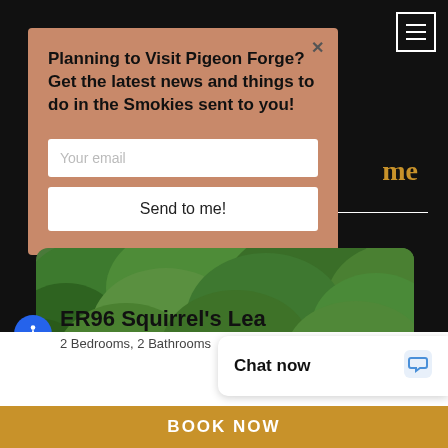[Figure (screenshot): Modal popup with salmon/terracotta background containing newsletter signup form for Pigeon Forge travel news. Fields: email input, Send to me! button. Close X in top right corner.]
Planning to Visit Pigeon Forge? Get the latest news and things to do in the Smokies sent to you!
Your email
Send to me!
[Figure (photo): Exterior photo of a dark brown wooden cabin surrounded by lush green trees and foliage, with a front porch and wooden staircase. Pink/red flowers visible in lower right.]
ER96 Squirrel's Lea
2 Bedrooms, 2 Bathrooms
Chat now
BOOK NOW